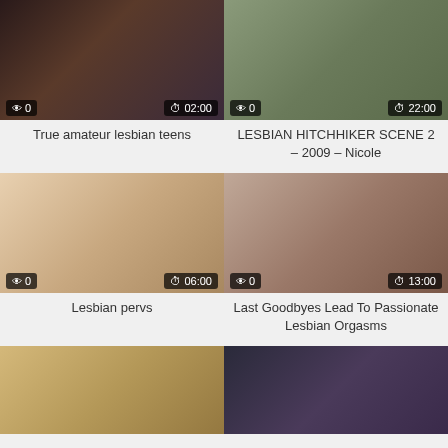[Figure (screenshot): Video thumbnail - True amateur lesbian teens, duration 02:00, views 0]
True amateur lesbian teens
[Figure (screenshot): Video thumbnail - LESBIAN HITCHHIKER SCENE 2 - 2009 - Nicole, duration 22:00, views 0]
LESBIAN HITCHHIKER SCENE 2 – 2009 – Nicole
[Figure (screenshot): Video thumbnail - Lesbian pervs, duration 06:00, views 0]
Lesbian pervs
[Figure (screenshot): Video thumbnail - Last Goodbyes Lead To Passionate Lesbian Orgasms, duration 13:00, views 0]
Last Goodbyes Lead To Passionate Lesbian Orgasms
[Figure (screenshot): Video thumbnail - partial, bottom row left]
[Figure (screenshot): Video thumbnail - partial, bottom row right]